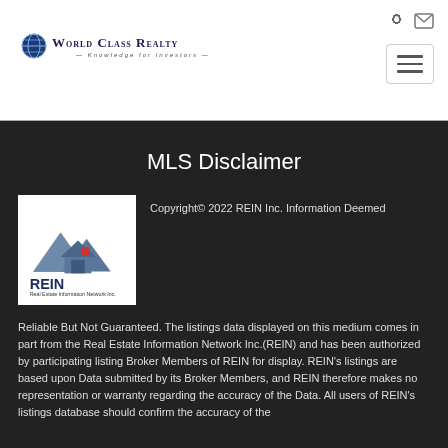[Figure (logo): World Class Realty logo with globe icon and tagline 'Knowledge for Investors']
MLS Disclaimer
[Figure (logo): REIN Real Estate Information Network Inc. logo]
Copyright© 2022 REIN Inc. Information Deemed Reliable But Not Guaranteed. The listings data displayed on this medium comes in part from the Real Estate Information Network Inc.(REIN) and has been authorized by participating listing Broker Members of REIN for display. REIN's listings are based upon Data submitted by its Broker Members, and REIN therefore makes no representation or warranty regarding the accuracy of the Data. All users of REIN's listings database should confirm the accuracy of the